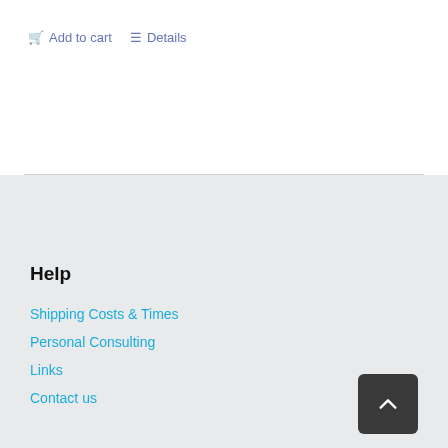🛒 Add to cart
≡ Details
Help
Shipping Costs & Times
Personal Consulting
Links
Contact us